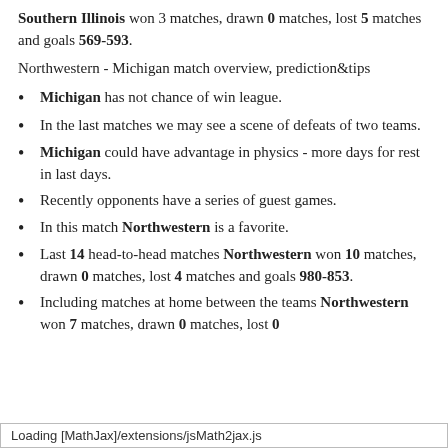Southern Illinois won 3 matches, drawn 0 matches, lost 5 matches and goals 569-593.
Northwestern - Michigan match overview, prediction&tips
Michigan has not chance of win league.
In the last matches we may see a scene of defeats of two teams.
Michigan could have advantage in physics - more days for rest in last days.
Recently opponents have a series of guest games.
In this match Northwestern is a favorite.
Last 14 head-to-head matches Northwestern won 10 matches, drawn 0 matches, lost 4 matches and goals 980-853.
Including matches at home between the teams Northwestern won 7 matches, drawn 0 matches, lost 0 matches and goals 489-391.
Loading [MathJax]/extensions/jsMath2jax.js